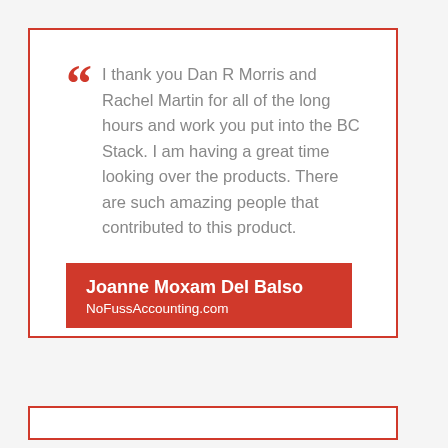I thank you Dan R Morris and Rachel Martin for all of the long hours and work you put into the BC Stack. I am having a great time looking over the products. There are such amazing people that contributed to this product.
Joanne Moxam Del Balso
NoFussAccounting.com